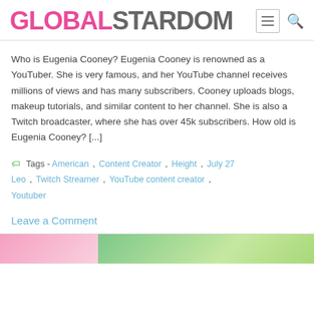GLOBALSTARDOM
Who is Eugenia Cooney? Eugenia Cooney is renowned as a YouTuber. She is very famous, and her YouTube channel receives millions of views and has many subscribers. Cooney uploads blogs, makeup tutorials, and similar content to her channel. She is also a Twitch broadcaster, where she has over 45k subscribers. How old is Eugenia Cooney? [...]
Tags - American , Content Creator , Height , July 27 , Leo , Twitch Streamer , YouTube content creator , Youtuber
Leave a Comment
[Figure (photo): Two partially visible images at the bottom of the page — left image appears pinkish/floral, right image appears green/nature themed.]